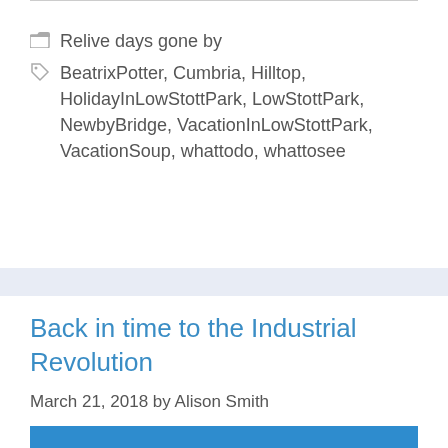Relive days gone by
BeatrixPotter, Cumbria, Hilltop, HolidayInLowStottPark, LowStottPark, NewbyBridge, VacationInLowStottPark, VacationSoup, whattodo, whattosee
Back in time to the Industrial Revolution
March 21, 2018 by Alison Smith